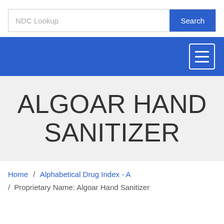[Figure (screenshot): Search bar with 'NDC Lookup' placeholder text and a blue 'Search' button]
[Figure (screenshot): Blue navigation bar with a hamburger menu icon (three horizontal lines) on the right]
ALGOAR HAND SANITIZER
Home / Alphabetical Drug Index - A / Proprietary Name: Algoar Hand Sanitizer